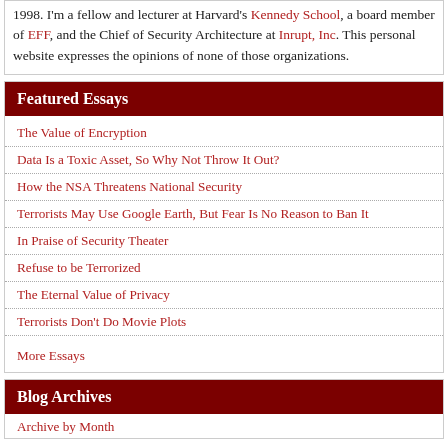1998. I'm a fellow and lecturer at Harvard's Kennedy School, a board member of EFF, and the Chief of Security Architecture at Inrupt, Inc. This personal website expresses the opinions of none of those organizations.
Featured Essays
The Value of Encryption
Data Is a Toxic Asset, So Why Not Throw It Out?
How the NSA Threatens National Security
Terrorists May Use Google Earth, But Fear Is No Reason to Ban It
In Praise of Security Theater
Refuse to be Terrorized
The Eternal Value of Privacy
Terrorists Don't Do Movie Plots
More Essays
Blog Archives
Archive by Month